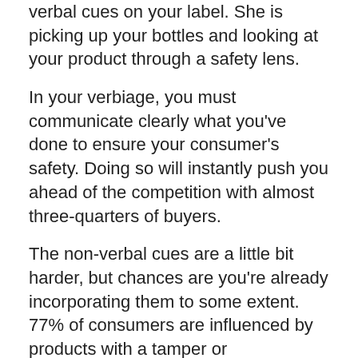verbal cues on your label. She is picking up your bottles and looking at your product through a safety lens.
In your verbiage, you must communicate clearly what you've done to ensure your consumer's safety. Doing so will instantly push you ahead of the competition with almost three-quarters of buyers.
The non-verbal cues are a little bit harder, but chances are you're already incorporating them to some extent. 77% of consumers are influenced by products with a tamper or contamination seal. For some products, such as food, this is a  non-negotiable. You must make your products tamper proof. In the personal care industry, the tamper proofing